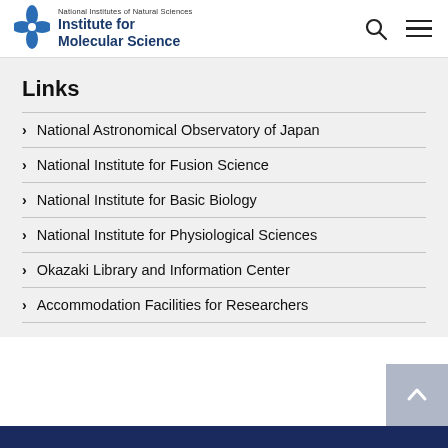National Institutes of Natural Sciences Institute for Molecular Science
Links
National Astronomical Observatory of Japan
National Institute for Fusion Science
National Institute for Basic Biology
National Institute for Physiological Sciences
Okazaki Library and Information Center
Accommodation Facilities for Researchers